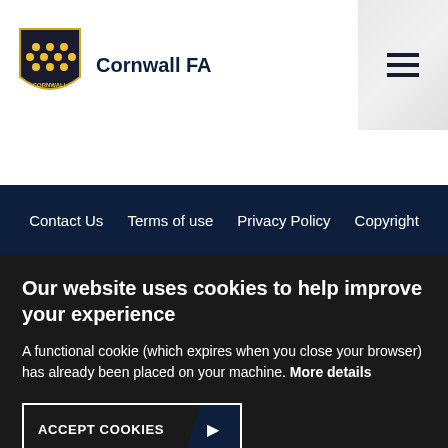Cornwall FA
Contact Us  Terms of use  Privacy Policy  Copyright
Our website uses cookies to help improve your experience
A functional cookie (which expires when you close your browser) has already been placed on your machine. More details
ACCEPT COOKIES